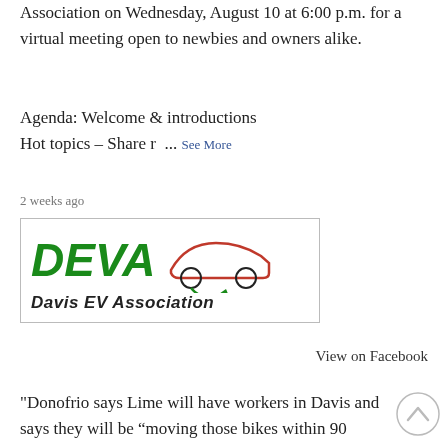Association on Wednesday, August 10 at 6:00 p.m. for a virtual meeting open to newbies and owners alike.
Agenda: Welcome & introductions Hot topics – Share r ... See More
2 weeks ago
[Figure (logo): DEVA Davis EV Association logo with green italic bold text and a red car silhouette outline with electric plug]
SHARE
View on Facebook
"Donofrio says Lime will have workers in Davis and says they will be “moving those bikes within 90 minutes, but also being proactive."